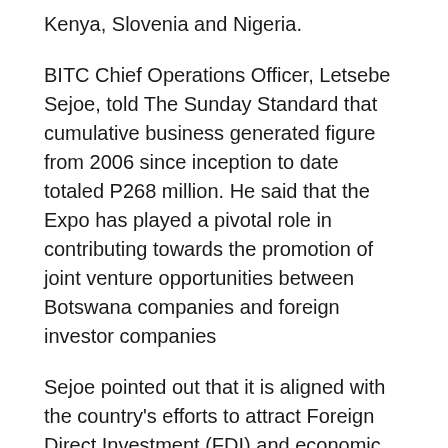Kenya, Slovenia and Nigeria.
BITC Chief Operations Officer, Letsebe Sejoe, told The Sunday Standard that cumulative business generated figure from 2006 since inception to date totaled P268 million. He said that the Expo has played a pivotal role in contributing towards the promotion of joint venture opportunities between Botswana companies and foreign investor companies
Sejoe pointed out that it is aligned with the country's efforts to attract Foreign Direct Investment (FDI) and economic diversification. He added that the Global expo also seeks to enhance exports of locally produced goods and enables market access for Botswana products into international markets.